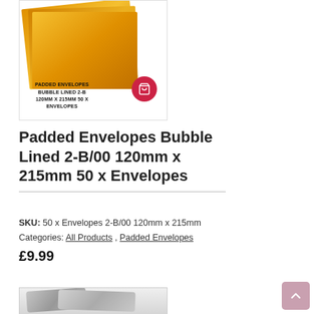[Figure (photo): Product photo of golden/yellow padded bubble-lined envelopes stacked, with overlay text label showing product name, and a red circular cart button overlay]
Padded Envelopes Bubble Lined 2-B/00 120mm x 215mm 50 x Envelopes
SKU: 50 x Envelopes 2-B/00 120mm x 215mm
Categories: All Products, Padded Envelopes
£9.99
[Figure (photo): Product photo of silver/grey poly mailer bags stacked]